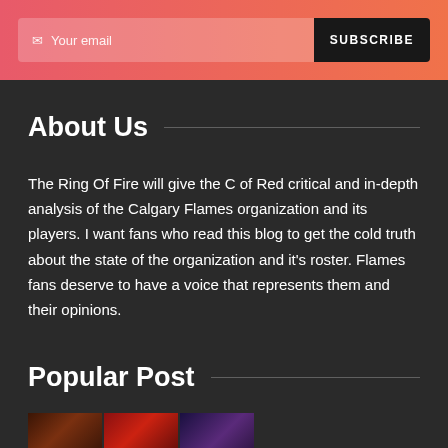Your email | SUBSCRIBE
About Us
The Ring Of Fire will give the C of Red critical and in-depth analysis of the Calgary Flames organization and its players. I want fans who read this blog to get the cold truth about the state of the organization and it's roster. Flames fans deserve to have a voice that represents them and their opinions.
Popular Post
[Figure (photo): Thumbnail strip of sports images at the bottom of the page]